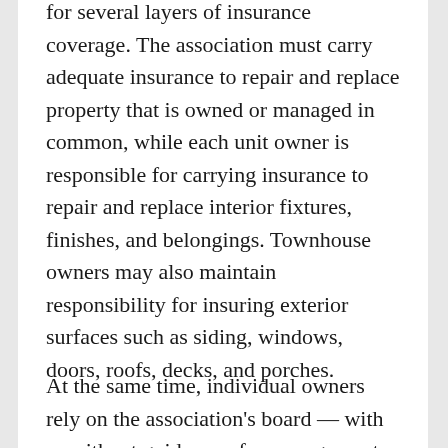for several layers of insurance coverage. The association must carry adequate insurance to repair and replace property that is owned or managed in common, while each unit owner is responsible for carrying insurance to repair and replace interior fixtures, finishes, and belongings. Townhouse owners may also maintain responsibility for insuring exterior surfaces such as siding, windows, doors, roofs, decks, and porches.
At the same time, individual owners rely on the association's board — with or without guidance of a management agent — to maintain common infrastructure in order to ensure the safety of its residents. But sometimes a condominium or homeowners'